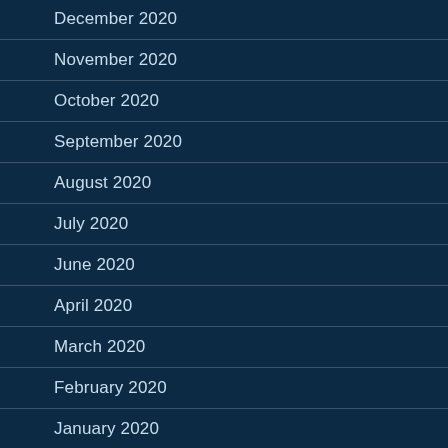December 2020
November 2020
October 2020
September 2020
August 2020
July 2020
June 2020
April 2020
March 2020
February 2020
January 2020
December 2019